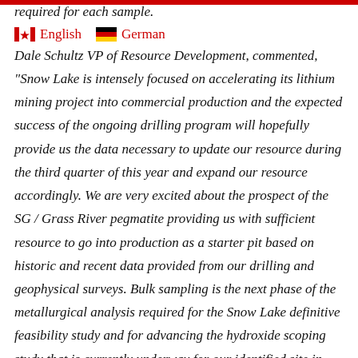required for each sample.
🇨🇦 English  🇩🇪 German
Dale Schultz VP of Resource Development, commented, "Snow Lake is intensely focused on accelerating its lithium mining project into commercial production and the expected success of the ongoing drilling program will hopefully provide us the data necessary to update our resource during the third quarter of this year and expand our resource accordingly. We are very excited about the prospect of the SG / Grass River pegmatite providing us with sufficient resource to go into production as a starter pit based on historic and recent data provided from our drilling and geophysical surveys. Bulk sampling is the next phase of the metallurgical analysis required for the Snow Lake definitive feasibility study and for advancing the hydroxide scoping study that is currently underway for our identified site in South Manitoba. The initial results from this program are very encouraging and affirming of our strategy."